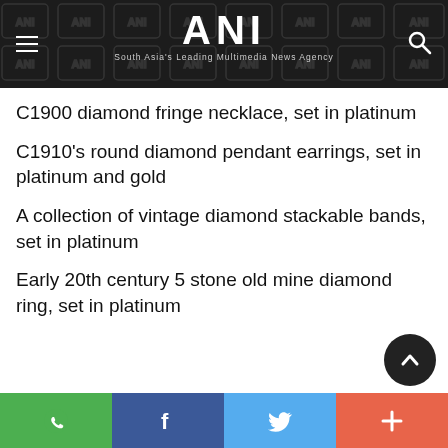ANI — South Asia's Leading Multimedia News Agency
C1900 diamond fringe necklace, set in platinum
C1910's round diamond pendant earrings, set in platinum and gold
A collection of vintage diamond stackable bands, set in platinum
Early 20th century 5 stone old mine diamond ring, set in platinum
WhatsApp | Facebook | Twitter | +